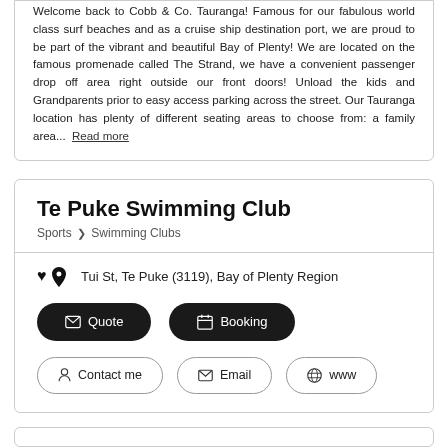Welcome back to Cobb & Co. Tauranga! Famous for our fabulous world class surf beaches and as a cruise ship destination port, we are proud to be part of the vibrant and beautiful Bay of Plenty! We are located on the famous promenade called The Strand, we have a convenient passenger drop off area right outside our front doors! Unload the kids and Grandparents prior to easy access parking across the street. Our Tauranga location has plenty of different seating areas to choose from: a family area... Read more
Te Puke Swimming Club
Sports > Swimming Clubs
Tui St, Te Puke (3119), Bay of Plenty Region
Quote
Booking
Contact me
Email
www